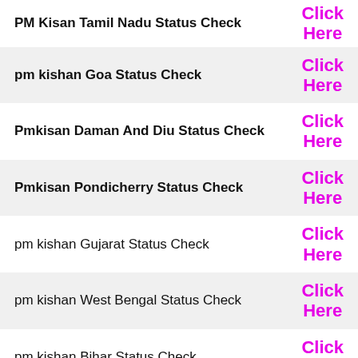| State/UT | Link |
| --- | --- |
| PM Kisan Tamil Nadu Status Check | Click Here |
| pm kishan Goa Status Check | Click Here |
| Pmkisan Daman And Diu Status Check | Click Here |
| Pmkisan Pondicherry Status Check | Click Here |
| pm kishan Gujarat Status Check | Click Here |
| pm kishan West Bengal Status Check | Click Here |
| pm kishan Bihar Status Check | Click Here |